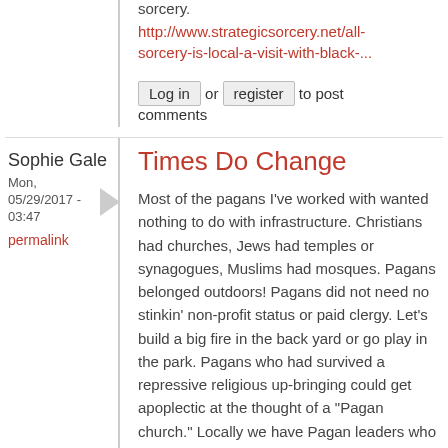sorcery.
http://www.strategicsorcery.net/all-sorcery-is-local-a-visit-with-black-...
Log in or register to post comments
Sophie Gale
Mon, 05/29/2017 - 03:47
permalink
Times Do Change
Most of the pagans I've worked with wanted nothing to do with infrastructure. Christians had churches, Jews had temples or synagogues, Muslims had mosques. Pagans belonged outdoors! Pagans did not need no stinkin' non-profit status or paid clergy. Let's build a big fire in the back yard or go play in the park. Pagans who had survived a repressive religious up-bringing could get apoplectic at the thought of a "Pagan church." Locally we have Pagan leaders who are still in the broom closet, and